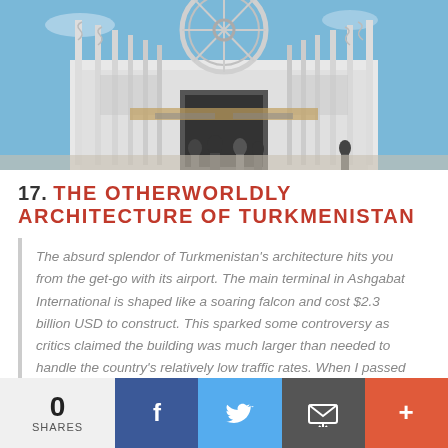[Figure (photo): Exterior of a large ornate white building with a Ferris wheel-like structure above the entrance, tall white decorative columns/poles flanking it, people walking in front, blue sky background.]
17. THE OTHERWORLDLY ARCHITECTURE OF TURKMENISTAN
The absurd splendor of Turkmenistan's architecture hits you from the get-go with its airport. The main terminal in Ashgabat International is shaped like a soaring falcon and cost $2.3 billion USD to construct. This sparked some controversy as critics claimed the building was much larger than needed to handle the country's relatively low traffic rates. When I passed through two years ago, that was very much the case….
0 SHARES  [Facebook] [Twitter] [Email] [More]